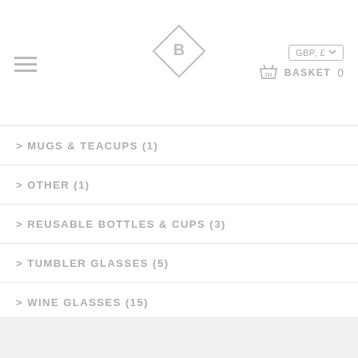B   GBP, £   BASKET 0
> MUGS & TEACUPS (1)
> OTHER (1)
> REUSABLE BOTTLES & CUPS (3)
> TUMBLER GLASSES (5)
> WINE GLASSES (15)
SHOP BY OCCASION (406)
SHOP BY PRODUCT (499)
SHOP BY RECIPIENT (359)
TRENDS (145)